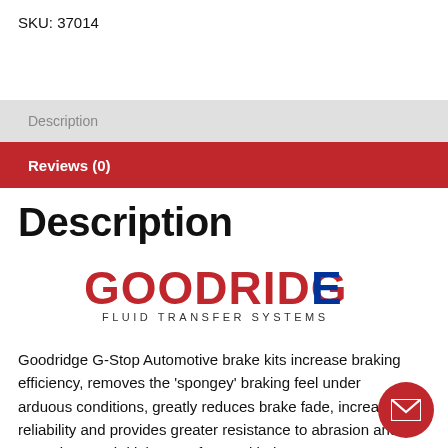SKU: 37014
Description
Reviews (0)
Description
[Figure (logo): Goodridge Fluid Transfer Systems logo — red bold text GOODRIDGE with blue G on the right, subtitle FLUID TRANSFER SYSTEMS in dark grey spaced capitals]
Goodridge G-Stop Automotive brake kits increase braking efficiency, removes the ‘spongey’ braking feel under arduous conditions, greatly reduces brake fade, increases reliability and provides greater resistance to abrasion and corrosion. Each kit is manufactured in-house, 100% pressure tested